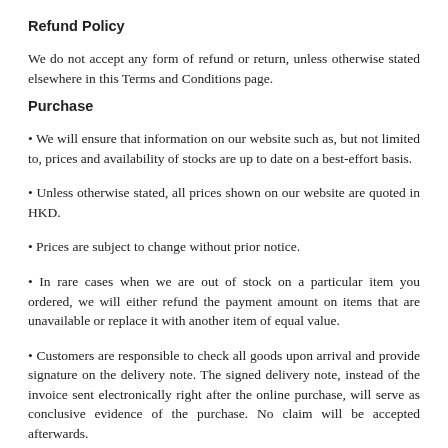Refund Policy
We do not accept any form of refund or return, unless otherwise stated elsewhere in this Terms and Conditions page.
Purchase
• We will ensure that information on our website such as, but not limited to, prices and availability of stocks are up to date on a best-effort basis.
• Unless otherwise stated, all prices shown on our website are quoted in HKD.
• Prices are subject to change without prior notice.
• In rare cases when we are out of stock on a particular item you ordered, we will either refund the payment amount on items that are unavailable or replace it with another item of equal value.
• Customers are responsible to check all goods upon arrival and provide signature on the delivery note. The signed delivery note, instead of the invoice sent electronically right after the online purchase, will serve as conclusive evidence of the purchase. No claim will be accepted afterwards.
• For detailed delivery related information, please see our